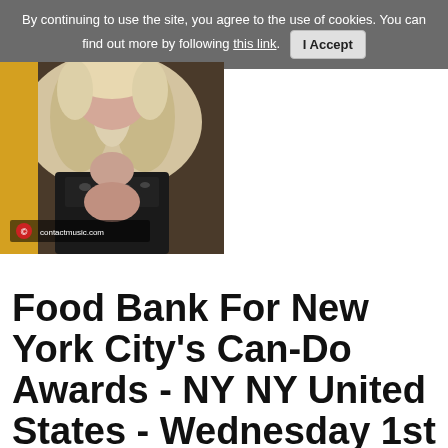By continuing to use the site, you agree to the use of cookies. You can find out more by following this link. I Accept
[Figure (photo): A woman wearing a black top with animal print detail and a fur stole, photographed at an event. Contactmusic.com watermark visible.]
Food Bank For New York City's Can-Do Awards - NY NY United States - Wednesday 1st May 2013